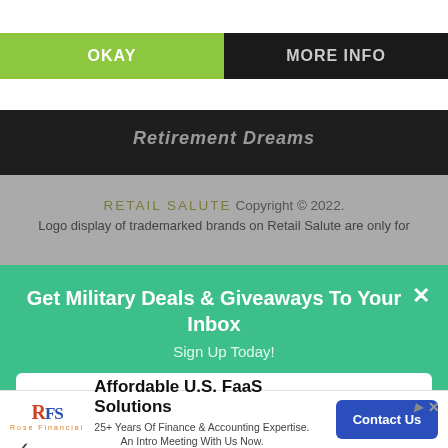This website uses cookies
OKAY
MORE INFO
[Figure (screenshot): Partially visible dark header image with italic white text reading 'Retirement Dreams']
RETAIL SALUTE Copyright © 2022. Logo display of trademarked brands on Retail Salute are only for
Get Military Deals & Giveaways To Your Inbox
Sign Up Today!
Email
Affordable U.S. FaaS Solutions
25+ Years Of Finance & Accounting Expertise. Book An Intro Meeting With Us Now. rosefinancial.com
Contact Us